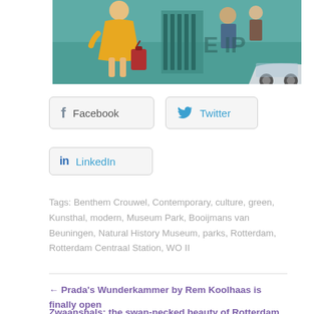[Figure (photo): Partial view of a mural on a building exterior, showing a woman in a yellow dress with a red suitcase, and additional painted figures; a car is partially visible in the lower right; teal/blue building facade background.]
Facebook  Twitter
LinkedIn
Tags: Benthem Crouwel, Contemporary, culture, green, Kunsthal, modern, Museum Park, Booijmans van Beuningen, Natural History Museum, parks, Rotterdam, Rotterdam Centraal Station, WO II
← Prada's Wunderkammer by Rem Koolhaas is finally open
Zwaanshals: the swan-necked beauty of Rotterdam